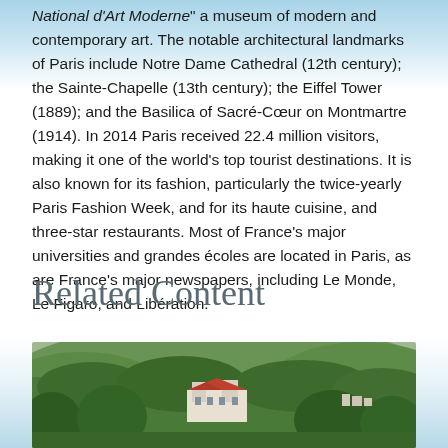National d'Art Moderne" a museum of modern and contemporary art. The notable architectural landmarks of Paris include Notre Dame Cathedral (12th century); the Sainte-Chapelle (13th century); the Eiffel Tower (1889); and the Basilica of Sacré-Cœur on Montmartre (1914). In 2014 Paris received 22.4 million visitors, making it one of the world's top tourist destinations. It is also known for its fashion, particularly the twice-yearly Paris Fashion Week, and for its haute cuisine, and three-star restaurants. Most of France's major universities and grandes écoles are located in Paris, as are France's major newspapers, including Le Monde, Le Figaro, and Libération.
Related Content
[Figure (photo): Aerial photograph of a castle or château surrounded by dense green forests and rolling hills, with a small town visible in the background.]